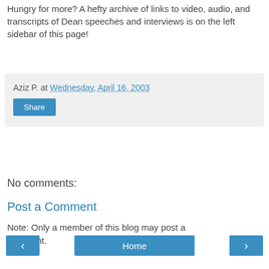Hungry for more? A hefty archive of links to video, audio, and transcripts of Dean speeches and interviews is on the left sidebar of this page!
Aziz P. at Wednesday, April 16, 2003
Share
No comments:
Post a Comment
Note: Only a member of this blog may post a comment.
Home
View web version
Powered by Blogger.